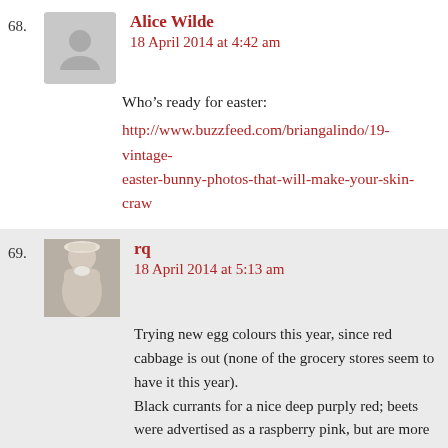68.
Alice Wilde
18 April 2014 at 4:42 am
Who’s ready for easter:
http://www.buzzfeed.com/briangalindo/19-vintage-easter-bunny-photos-that-will-make-your-skin-craw
69.
[Figure (photo): Avatar photo of user rq, showing a person in vintage clothing with a hat]
rq
18 April 2014 at 5:13 am
Trying new egg colours this year, since red cabbage is out (none of the grocery stores seem to have it this year).
Black currants for a nice deep purply red; beets were advertised as a raspberry pink, but are more brownish a la raspberries too old to eat; chamomile tea for a golden yellow tone. I might experiment more later.